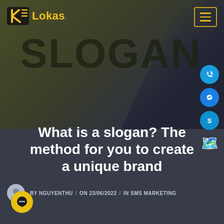[Figure (logo): Lokas logo with yellow K icon and yellow text 'Lokas']
[Figure (illustration): Hero banner with dark olive/dark background, large watermark text 'SLOGAN', diagonal dark overlay on right side]
[Figure (infographic): Right-side floating social icons: phone (blue), messenger (blue), Skype (blue), map pin emoji]
What is a slogan? The method for you to create a unique brand
BY NGUYENTHU / ON 23/06/2022 / IN SMS MARKETING
[Figure (illustration): Yellow circle chat button at bottom left]